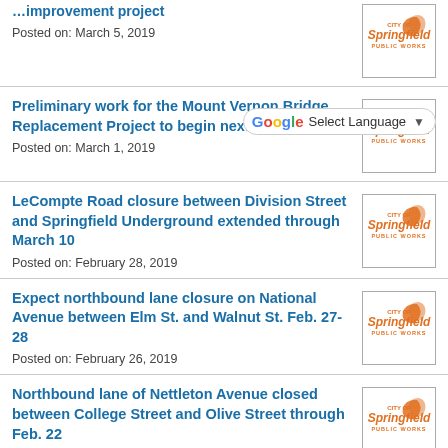Posted on: March 5, 2019
Preliminary work for the Mount Vernon Bridge Replacement Project to begin next week
Posted on: March 1, 2019
LeCompte Road closure between Division Street and Springfield Underground extended through March 10
Posted on: February 28, 2019
Expect northbound lane closure on National Avenue between Elm St. and Walnut St. Feb. 27-28
Posted on: February 26, 2019
Northbound lane of Nettleton Avenue closed between College Street and Olive Street through Feb. 22